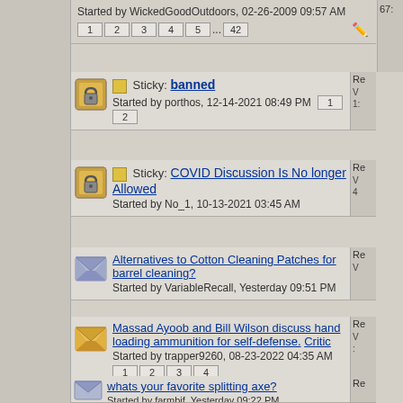Started by WickedGoodOutdoors, 02-26-2009 09:57 AM
Pages: 1 2 3 4 5 ... 42
Sticky: banned — Started by porthos, 12-14-2021 08:49 PM — Pages: 1 2
Sticky: COVID Discussion Is No longer Allowed — Started by No_1, 10-13-2021 03:45 AM
Alternatives to Cotton Cleaning Patches for barrel cleaning? — Started by VariableRecall, Yesterday 09:51 PM
Massad Ayoob and Bill Wilson discuss hand loading ammunition for self-defense. Critic — Started by trapper9260, 08-23-2022 04:35 AM — Pages: 1 2 3 4
whats your favorite splitting axe? — Started by farmbif, Yesterday 09:22 PM